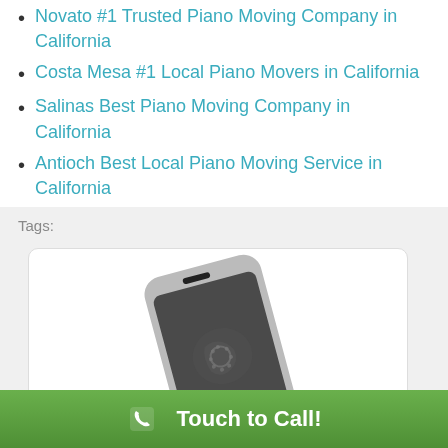Novato #1 Trusted Piano Moving Company in California
Costa Mesa #1 Local Piano Movers in California
Salinas Best Piano Moving Company in California
Antioch Best Local Piano Moving Service in California
Tags:
[Figure (photo): A smartphone tilted at an angle showing a telephone icon on its screen, with a shadow beneath it.]
Touch to Call!